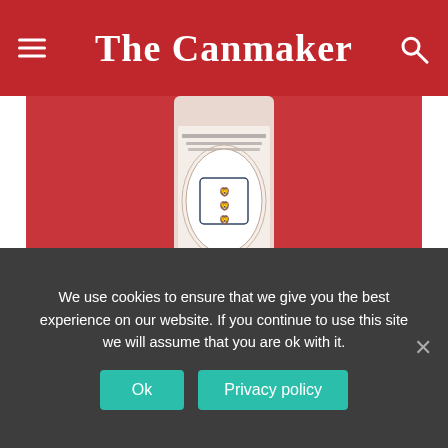The Canmaker
[Figure (photo): Close-up of a Budweiser special edition can against a red background, showing the England football three lions crest and the word 'Home' in script lettering, with partial text visible at top]
Budweiser, which sponsors the England women's football team, is launching special edition cans to celebrate the
We use cookies to ensure that we give you the best experience on our website. If you continue to use this site we will assume that you are ok with it.